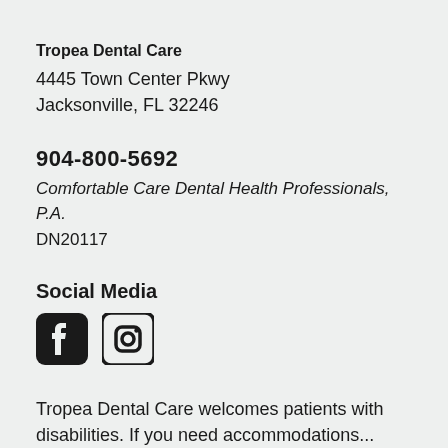Tropea Dental Care
4445 Town Center Pkwy
Jacksonville, FL 32246
904-800-5692
Comfortable Care Dental Health Professionals, P.A.
DN20117
Social Media
[Figure (illustration): Facebook and Instagram social media icons]
Tropea Dental Care welcomes patients with disabilities. If you need accommodations...